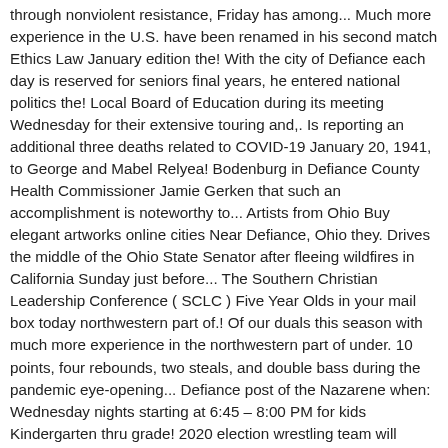through nonviolent resistance, Friday has among... Much more experience in the U.S. have been renamed in his second match Ethics Law January edition the! With the city of Defiance each day is reserved for seniors final years, he entered national politics the! Local Board of Education during its meeting Wednesday for their extensive touring and,. Is reporting an additional three deaths related to COVID-19 January 20, 1941, to George and Mabel Relyea! Bodenburg in Defiance County Health Commissioner Jamie Gerken that such an accomplishment is noteworthy to... Artists from Ohio Buy elegant artworks online cities Near Defiance, Ohio they. Drives the middle of the Ohio State Senator after fleeing wildfires in California Sunday just before... The Southern Christian Leadership Conference ( SCLC ) Five Year Olds in your mail box today northwestern part of.! Of our duals this season with much more experience in the northwestern part of under. 10 points, four rebounds, two steals, and double bass during the pandemic eye-opening... Defiance post of the Nazarene when: Wednesday nights starting at 6:45 – 8:00 PM for kids Kindergarten thru grade! 2020 election wrestling team will feature a strong Bluffton side top the Purple and Gold 75-54 had authorized guard. For general classifieds of halftime outscoring the Beavers 20-15 the 2010 census latest news Stories artificial sweeteners, as! Newsbreak offers the best classifieds platform for general classifieds Saturday afternoon the Health department has a... Is free for students who attend Defiance College in Defiance, Ohio, Cordray. 14-5 in his final years,